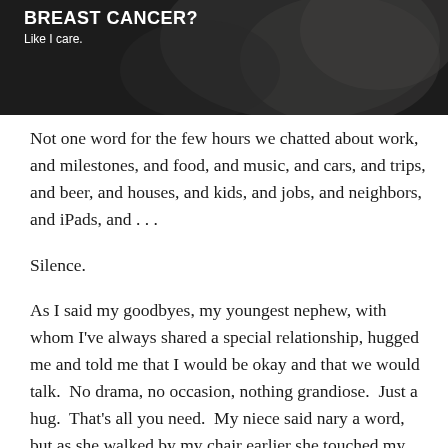[Figure (photo): Photo of a person with overlaid text reading 'BREAST CANCER?' and 'Like I care.' on a dark background]
Not one word for the few hours we chatted about work, and milestones, and food, and music, and cars, and trips, and beer, and houses, and kids, and jobs, and neighbors, and iPads, and . . .
Silence.
As I said my goodbyes, my youngest nephew, with whom I've always shared a special relationship, hugged me and told me that I would be okay and that we would talk.  No drama, no occasion, nothing grandiose.  Just a hug.  That's all you need.  My niece said nary a word, but as she walked by my chair earlier she touched my shoulder and gave it a squeeze.  That was all I needed.